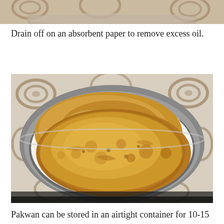[Figure (photo): Top portion of a food photo, cropped — showing a metallic bowl with patterned background, partially visible]
Drain off on an absorbent paper to remove excess oil.
[Figure (photo): A steel/metallic bowl lined with white absorbent paper containing two large round golden-brown fried flatbreads (Pakwan), placed on a decorative patterned surface]
Pakwan can be stored in an airtight container for 10-15 days once its cooled completely.